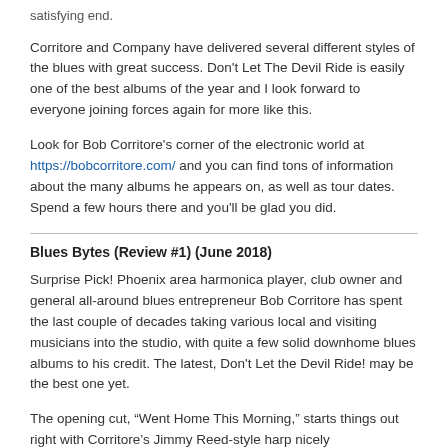satisfying end.
Corritore and Company have delivered several different styles of the blues with great success. Don't Let The Devil Ride is easily one of the best albums of the year and I look forward to everyone joining forces again for more like this.
Look for Bob Corritore's corner of the electronic world at https://bobcorritore.com/ and you can find tons of information about the many albums he appears on, as well as tour dates. Spend a few hours there and you'll be glad you did.
Blues Bytes (Review #1) (June 2018)
Surprise Pick! Phoenix area harmonica player, club owner and general all-around blues entrepreneur Bob Corritore has spent the last couple of decades taking various local and visiting musicians into the studio, with quite a few solid downhome blues albums to his credit. The latest, Don't Let the Devil Ride! may be the best one yet.
The opening cut, “Went Home This Morning,” starts things out right with Corritore's Jimmy Reed-style harp nicely complementing the